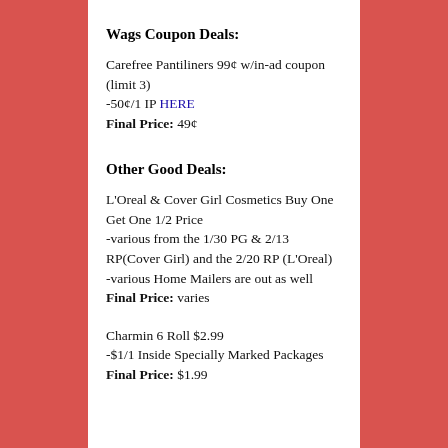Wags Coupon Deals:
Carefree Pantiliners 99¢ w/in-ad coupon (limit 3)
-50¢/1 IP HERE
Final Price: 49¢
Other Good Deals:
L'Oreal & Cover Girl Cosmetics Buy One Get One 1/2 Price
-various from the 1/30 PG & 2/13 RP(Cover Girl) and the 2/20 RP (L'Oreal)
-various Home Mailers are out as well
Final Price: varies
Charmin 6 Roll $2.99
-$1/1 Inside Specially Marked Packages
Final Price: $1.99